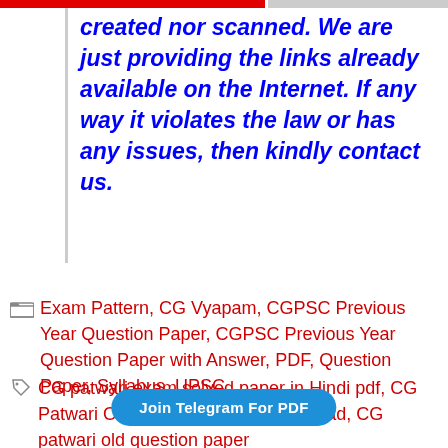created nor scanned. We are just providing the links already available on the Internet. If any way it violates the law or has any issues, then kindly contact us.
Exam Pattern, CG Vyapam, CGPSC Previous Year Question Paper, CGPSC Previous Year Question Paper with Answer, PDF, Question Paper, Syllabus, UPSC
CG patwari exam solved paper in Hindi pdf, CG Patwari Old Question Paper Download, CG patwari old question paper